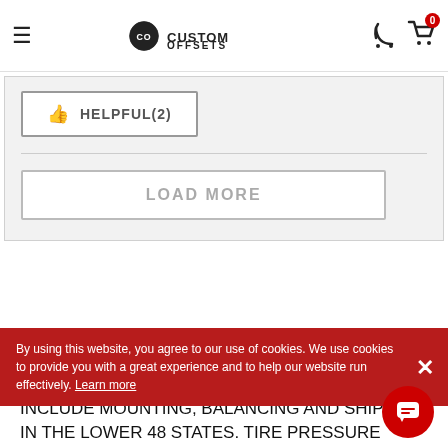Custom Offsets
HELPFUL(2)
LOAD MORE
About Us
ALL WHEEL AND TIRE PACKAGE PRICES INCLUDE MOUNTING, BALANCING AND SHIPPING IN THE LOWER 48 STATES. TIRE PRESSURE MONITOR SENSORS (TPMS) LOCKING LUGS A... CHECK OUT. Wheels, tires, shipping and warranty provided by an authorized distributor to sell hundreds of brands at the best prices available! So check out our
By using this website, you agree to our use of cookies. We use cookies to provide you with a great experience and to help our website run effectively. Learn more